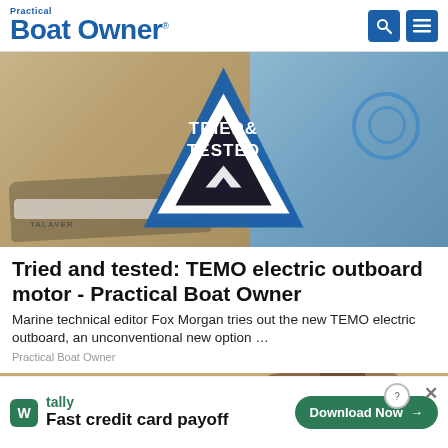Practical Boat Owner
[Figure (photo): Hero image showing a TEMO electric outboard motor and an inflatable dinghy on a beach, with a 'Tried & Tested' diamond badge overlay in blue and white]
Tried and tested: TEMO electric outboard motor - Practical Boat Owner
Marine technical editor Fox Morgan tries out the new TEMO electric outboard, an unconventional new option …
Practical Boat Owner
[Figure (photo): Partial image of beach scene with dark leather sandals on sand]
tally Fast credit card payoff  Download Now →